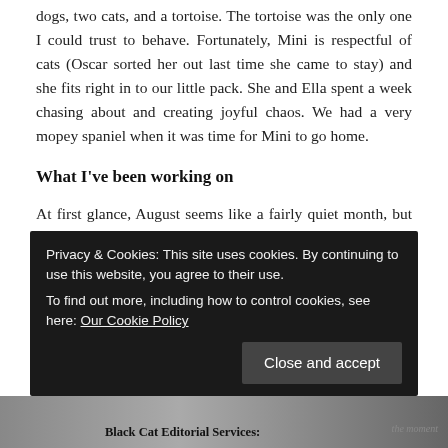dogs, two cats, and a tortoise. The tortoise was the only one I could trust to behave. Fortunately, Mini is respectful of cats (Oscar sorted her out last time she came to stay) and she fits right in to our little pack. She and Ella spent a week chasing about and creating joyful chaos. We had a very mopey spaniel when it was time for Mini to go home.
What I've been working on
At first glance, August seems like a fairly quiet month, but my latest project has been something of a challenge. I started the month with a short story written by an independent author and returning client, whom I very much enjoy working with. The story explored the dark side of social media and its effect on mental health.
Privacy & Cookies: This site uses cookies. By continuing to use this website, you agree to their use.
To find out more, including how to control cookies, see here: Our Cookie Policy
Black Cat Editorial Services: